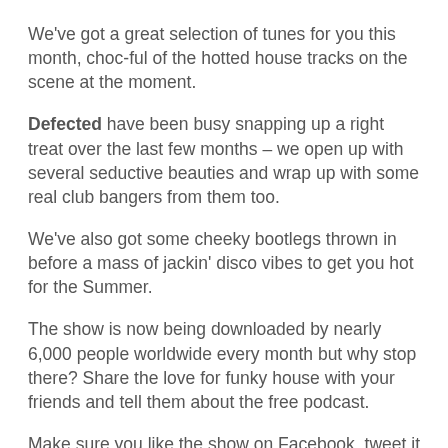We've got a great selection of tunes for you this month, choc-ful of the hotted house tracks on the scene at the moment.
Defected have been busy snapping up a right treat over the last few months – we open up with several seductive beauties and wrap up with some real club bangers from them too.
We've also got some cheeky bootlegs thrown in before a mass of jackin' disco vibes to get you hot for the Summer.
The show is now being downloaded by nearly 6,000 people worldwide every month but why stop there? Share the love for funky house with your friends and tell them about the free podcast.
Make sure you like the show on Facebook, tweet it to